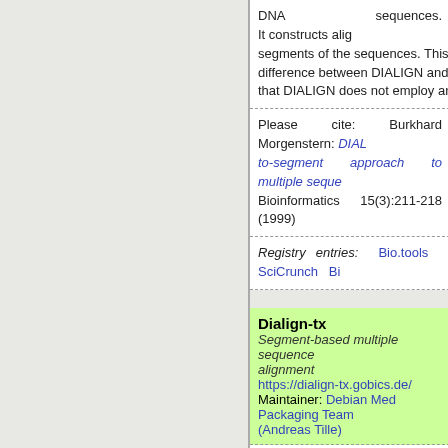DNA sequences. It constructs alignments based on significant segments of the sequences. This scoring scheme is the main difference between DIALIGN and other global or local approaches: that DIALIGN does not employ any kind of gap penalties.
Please cite: Burkhard Morgenstern: DIALIGN 2: improvement of the segment-to-segment approach to multiple sequence alignment. Bioinformatics 15(3):211-218 (1999)
Registry entries: Bio.tools  SciCrunch  Bioconda
Dialign-tx
Segment-based multiple sequence alignment
https://dialign-tx.gobics.de/
Maintainer: Debian Med Packaging Team (Andreas Tille)
DIALIGN-TX is a command line tool to perform multiple alignment of DNA sequences. It is a complete reimplementation of the approach including several new improvements which significantly enhance the quality of the output alignment compared to DIALIGN-T. For pairwise alignment, DIALIGN-TX uses an algorithm that favours chains of low-scoring fragments over single high-scoring fragments. For multiple alignment, DIALIGN-TX uses a greedy procedure that is less sensitive to spurious high-scoring fragments.
The package is enhanced by the following components:
Please cite: Amarendran R. Subramanian, Jan Weyer-Menkhoff, Michael Morgenstern: DIALIGN-TX: greedy and progressive approaches for segment-based multiple sequence alignment. (PubMed) Algorithms for Molecular Biology 3(1):6 (2008)